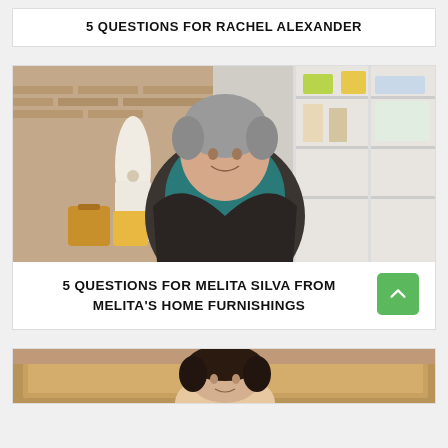5 QUESTIONS FOR RACHEL ALEXANDER
[Figure (photo): Woman with grey hair smiling, standing in a shop with shelving units displaying bags, jewellery, and colourful items behind her. She wears a teal top and dark wrap.]
5 QUESTIONS FOR MELITA SILVA FROM MELITA'S HOME FURNISHINGS
[Figure (photo): Partial view of a woman with dark hair in a kitchen setting with wooden cabinets.]